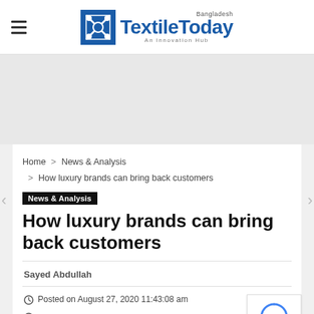Textile Today Bangladesh — An Innovation Hub
Home > News & Analysis > How luxury brands can bring back customers
News & Analysis
How luxury brands can bring back customers
Sayed Abdullah
Posted on August 27, 2020 11:43:08 am
Last updated at August 27, 2020 11:56:40 am